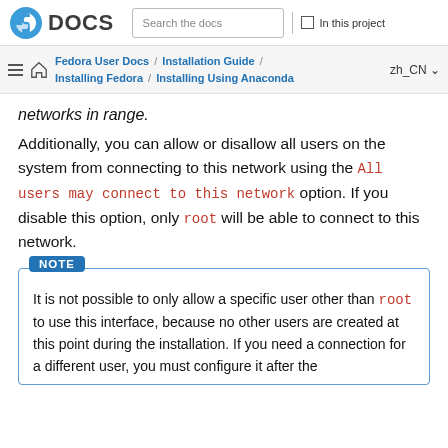Fedora DOCS | Search the docs | In this project
Fedora User Docs / Installation Guide / Installing Fedora / Installing Using Anaconda | zh_CN
networks in range.
Additionally, you can allow or disallow all users on the system from connecting to this network using the All users may connect to this network option. If you disable this option, only root will be able to connect to this network.
NOTE
It is not possible to only allow a specific user other than root to use this interface, because no other users are created at this point during the installation. If you need a connection for a different user, you must configure it after the